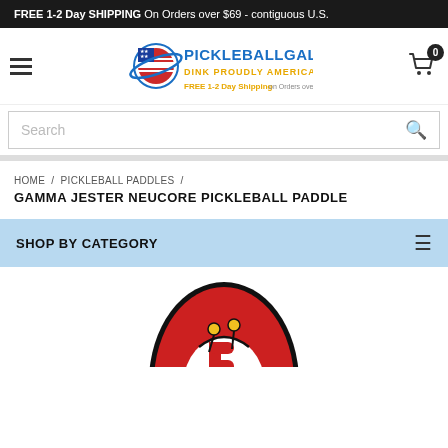FREE 1-2 Day SHIPPING On Orders over $69 - contiguous U.S.
[Figure (logo): PickleballGalaxy logo with planet icon, text 'PICKLEBALLGALAXY', 'DINK PROUDLY AMERICA', 'FREE 1-2 Day Shipping on Orders over $69']
Search
HOME / PICKLEBALL PADDLES / GAMMA JESTER NEUCORE PICKLEBALL PADDLE
SHOP BY CATEGORY
[Figure (photo): Partial view of a Gamma Jester Neucore Pickleball Paddle with red and black design featuring a jester character logo]